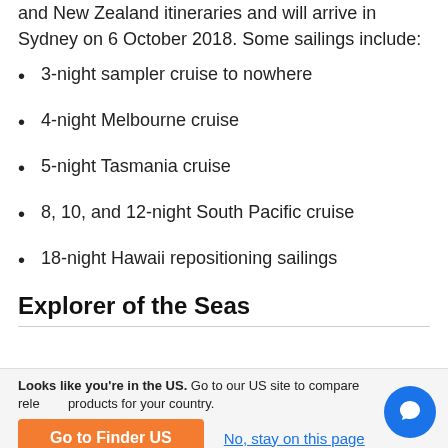and New Zealand itineraries and will arrive in Sydney on 6 October 2018. Some sailings include:
3-night sampler cruise to nowhere
4-night Melbourne cruise
5-night Tasmania cruise
8, 10, and 12-night South Pacific cruise
18-night Hawaii repositioning sailings
Explorer of the Seas
Looks like you're in the US. Go to our US site to compare relevant products for your country.
Go to Finder US
No, stay on this page